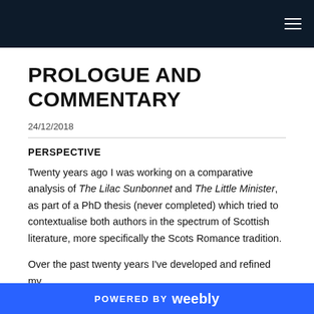PROLOGUE AND COMMENTARY
24/12/2018
PERSPECTIVE
Twenty years ago I was working on a comparative analysis of The Lilac Sunbonnet and The Little Minister, as part of a PhD thesis (never completed) which tried to contextualise both authors in the spectrum of Scottish literature, more specifically the Scots Romance tradition.
Over the past twenty years I've developed and refined my
POWERED BY weebly